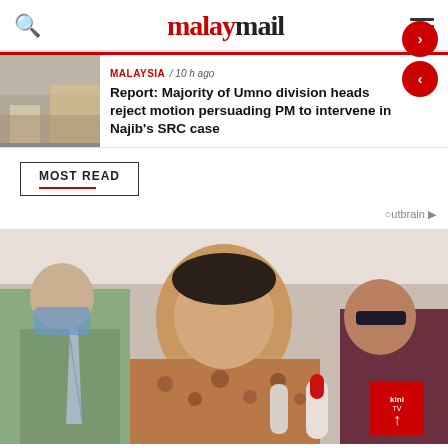malaymail
Report: Majority of Umno division heads reject motion persuading PM to intervene in Najib's SRC case
MALAYSIA / 10 h ago
MOST READ
Outbrain
[Figure (photo): Man in batik shirt speaking to reporters holding microphones, flanked by men in masks and sunglasses indoors]